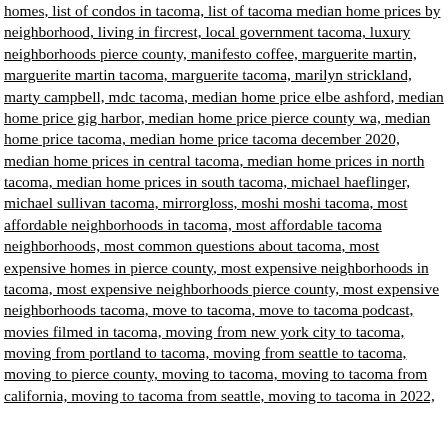homes, list of condos in tacoma, list of tacoma median home prices by neighborhood, living in fircrest, local government tacoma, luxury neighborhoods pierce county, manifesto coffee, marguerite martin, marguerite martin tacoma, marguerite tacoma, marilyn strickland, marty campbell, mdc tacoma, median home price elbe ashford, median home price gig harbor, median home price pierce county wa, median home price tacoma, median home price tacoma december 2020, median home prices in central tacoma, median home prices in north tacoma, median home prices in south tacoma, michael haeflinger, michael sullivan tacoma, mirrorgloss, moshi moshi tacoma, most affordable neighborhoods in tacoma, most affordable tacoma neighborhoods, most common questions about tacoma, most expensive homes in pierce county, most expensive neighborhoods in tacoma, most expensive neighborhoods pierce county, most expensive neighborhoods tacoma, move to tacoma, move to tacoma podcast, movies filmed in tacoma, moving from new york city to tacoma, moving from portland to tacoma, moving from seattle to tacoma, moving to pierce county, moving to tacoma, moving to tacoma from california, moving to tacoma from seattle, moving to tacoma in 2022,